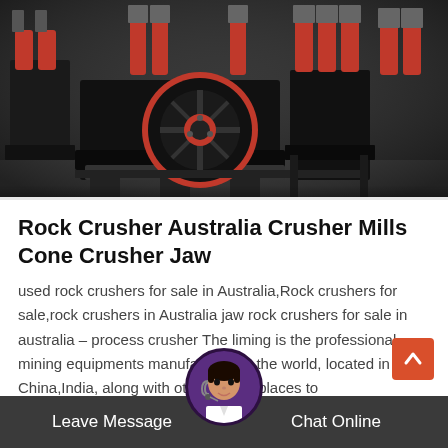[Figure (photo): Industrial rock crusher / cone crusher machinery with red and black components, circular flywheel visible in the center, multiple red cylindrical parts on dark steel frame structure in a factory setting.]
Rock Crusher Australia Crusher Mills Cone Crusher Jaw
used rock crushers for sale in Australia,Rock crushers for sale,rock crushers in Australia jaw rock crushers for sale in australia – process crusher The liming is the professional mining equipments manufacturer in the world, located in China,India, along with other marketplaces to develop and develop, now...